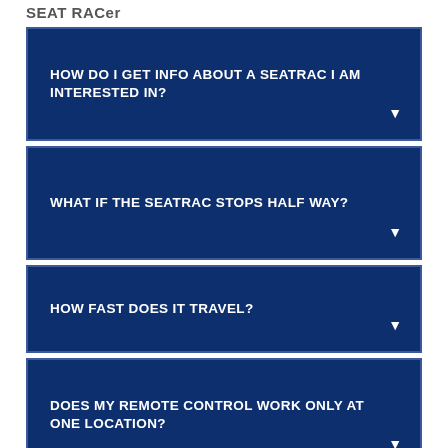SEAT RACer
HOW DO I GET INFO ABOUT A SEATRAC I AM INTERESTED IN?
WHAT IF THE SEATRAC STOPS HALF WAY?
HOW FAST DOES IT TRAVEL?
DOES MY REMOTE CONTROL WORK ONLY AT ONE LOCATION?
WHERE ARE THEY?